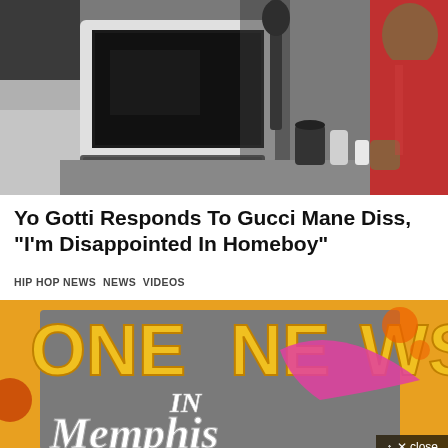[Figure (photo): Radio studio scene with a large white CRT monitor/computer screen in the center, microphone equipment, and a person in a red hoodie seated at the right side of the frame.]
Yo Gotti Responds To Gucci Mane Diss, “I’m Disappointed In Homeboy”
HIP HOP NEWS  NEWS  VIDEOS
[Figure (photo): Colorful stylized graphic/logo reading 'ONE NEWS IN Memphis' with retro typography in gold, red, and white colors with a pink swoosh element and orange background.]
x close